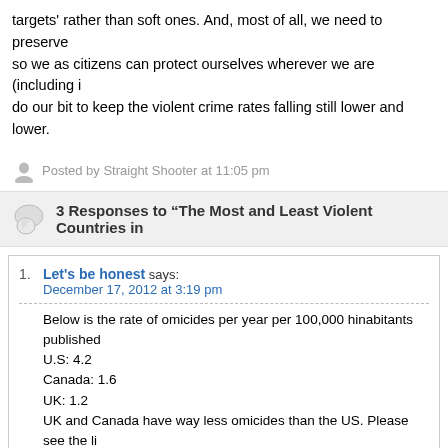targets' rather than soft ones.  And, most of all, we need to preserve so we as citizens can protect ourselves wherever we are (including i do our bit to keep the violent crime rates falling still lower and lower.
Posted by Straight Shooter at 11:05 pm
3 Responses to “The Most and Least Violent Countries in
Let's be honest says:
December 17, 2012 at 3:19 pm

Below is the rate of omicides per year per 100,000 hinabitants published
U.S: 4.2
Canada: 1.6
UK: 1.2
UK and Canada have way less omicides than the US. Please see the li
http://en.wikipedia.org/wiki/List_of_countries_by_intentional_homicide_r
Straight Shooter says: